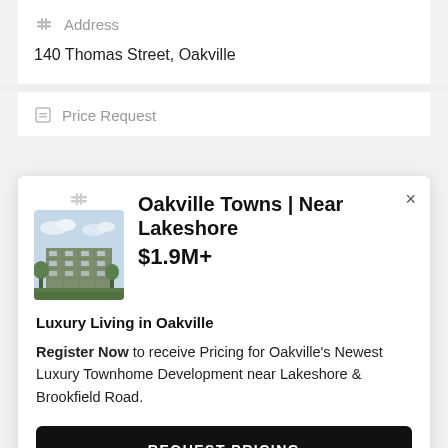Address
140 Thomas Street, Oakville
Price Request
Oakville Towns | Near Lakeshore $1.9M+
Luxury Living in Oakville
Register Now to receive Pricing for Oakville's Newest Luxury Townhome Development near Lakeshore & Brookfield Road.
REQUEST PRICING